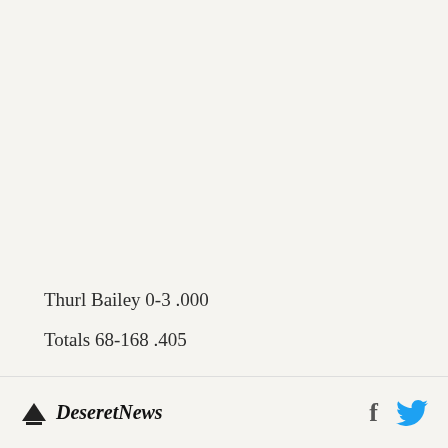Thurl Bailey 0-3 .000
Totals 68-168 .405
Deseret News